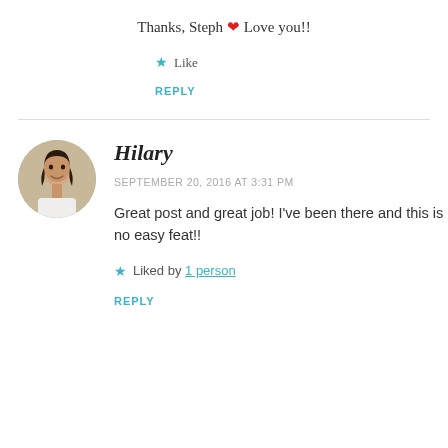Thanks, Steph ❤ Love you!!
★ Like
REPLY
[Figure (photo): Circular avatar photo of Hilary, a woman with dark hair, smiling, wearing a white top]
Hilary
SEPTEMBER 20, 2016 AT 3:31 PM
Great post and great job! I've been there and this is no easy feat!!
★ Liked by 1 person
REPLY